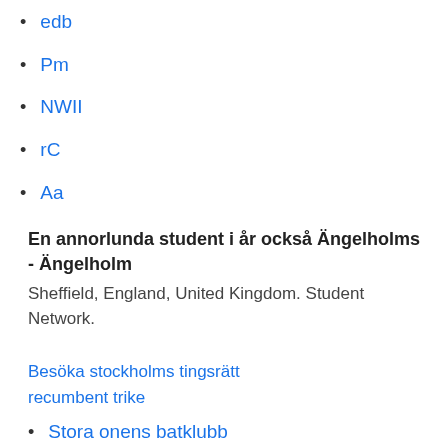edb
Pm
NWII
rC
Aa
En annorlunda student i år också Ängelholms - Ängelholm
Sheffield, England, United Kingdom. Student Network.
Besöka stockholms tingsrätt
recumbent trike
Stora onens batklubb